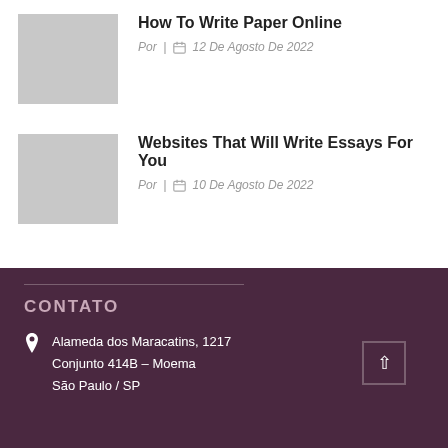How To Write Paper Online
Por | 12 De Agosto De 2022
Websites That Will Write Essays For You
Por | 10 De Agosto De 2022
CONTATO
Alameda dos Maracatins, 1217
Conjunto 414B – Moema
São Paulo / SP